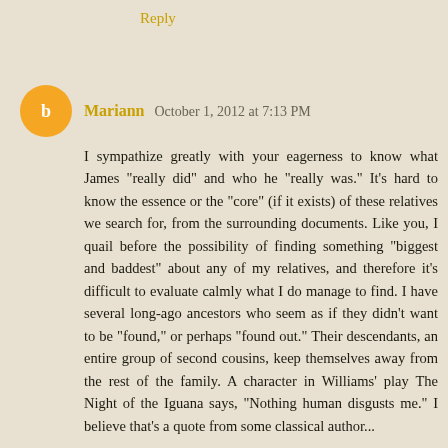Reply
Mariann October 1, 2012 at 7:13 PM
I sympathize greatly with your eagerness to know what James "really did" and who he "really was." It's hard to know the essence or the "core" (if it exists) of these relatives we search for, from the surrounding documents. Like you, I quail before the possibility of finding something "biggest and baddest" about any of my relatives, and therefore it's difficult to evaluate calmly what I do manage to find. I have several long-ago ancestors who seem as if they didn't want to be "found," or perhaps "found out." Their descendants, an entire group of second cousins, keep themselves away from the rest of the family. A character in Williams' play The Night of the Iguana says, "Nothing human disgusts me." I believe that's a quote from some classical author...
Reply